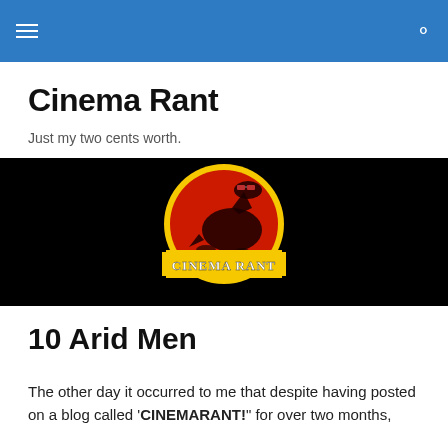Cinema Rant [navigation header with hamburger menu and search icon]
Cinema Rant
Just my two cents worth.
[Figure (logo): Cinema Rant logo: Jurassic Park style circular logo on black background. Red circle with yellow border containing a dinosaur wearing 3D glasses, with yellow banner at bottom reading 'CINEMA RANT' in white serif text.]
10 Arid Men
The other day it occurred to me that despite having posted on a blog called 'CINEMARANT!' for over two months,